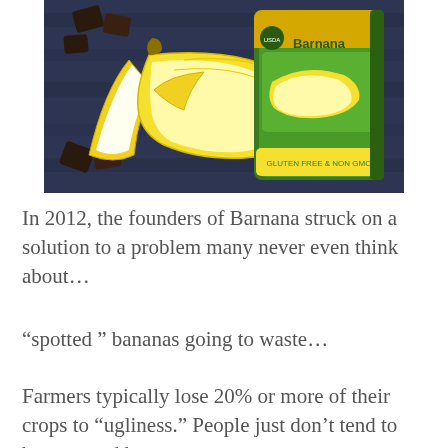[Figure (photo): A peeled banana lying on a dark blue wooden surface next to dark chocolate pieces and a green bag of Barnana banana snacks]
In 2012, the founders of Barnana struck on a solution to a problem many never even think about…
“spotted “ bananas going to waste…
Farmers typically lose 20% or more of their crops to “ugliness.” People just don’t tend to buy spotted bananas.
They now buy over 11 million of the imperfect organic fruits and “upcycle”